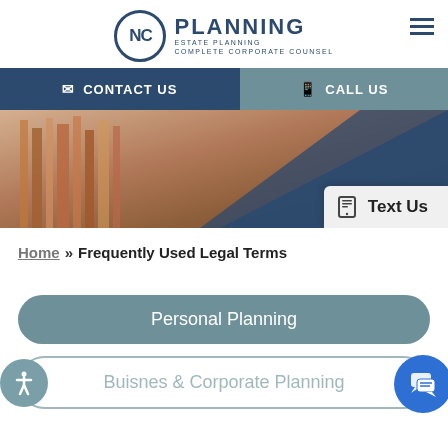[Figure (logo): NC Planning logo with circle emblem, 'PLANNING', 'ESTATE PLANNING', 'COMPLETE CORPORATE COUNSEL' text]
CONTACT US | CALL US
[Figure (photo): Blurred bookshelf hero image with dark navy triangle overlay and 'Text Us' popup box]
Home » Frequently Used Legal Terms
Personal Planning
Buisnes & Corporate Planning